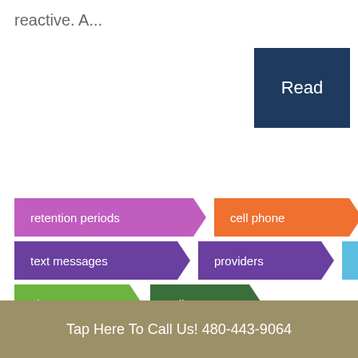reactive. A...
[Figure (other): Dark navy blue Read button]
[Figure (infographic): Tag/arrow labels: retention periods, cell phone, text messages, providers, carriers, pictures, calls]
Tap Here To Call Us! 480-443-9064